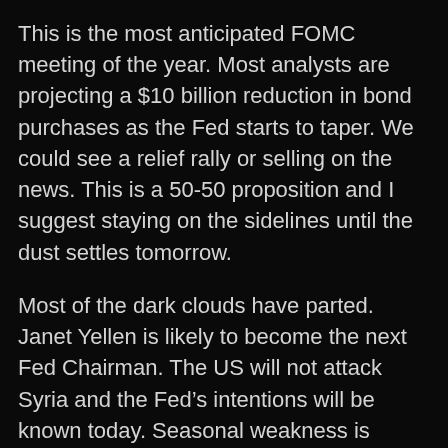This is the most anticipated FOMC meeting of the year. Most analysts are projecting a $10 billion reduction in bond purchases as the Fed starts to taper. We could see a relief rally or selling on the news. This is a 50-50 proposition and I suggest staying on the sidelines until the dust settles tomorrow.
Most of the dark clouds have parted. Janet Yellen is likely to become the next Fed Chairman. The US will not attack Syria and the Fed's intentions will be known today. Seasonal weakness is winding down and Asset Managers will bid more aggressively with each passing week.
After today, the focus will quickly shift to the debt ceiling. We could see nervous trading as the rhetoric escalates. The “can” always gets kicked down the road at the last minute and any debt ceiling dip will be a buying opportunity.